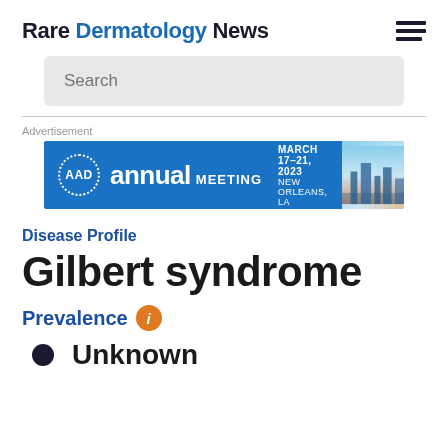Rare Dermatology News
Disease Profile
Gilbert syndrome
Prevalence
Unknown